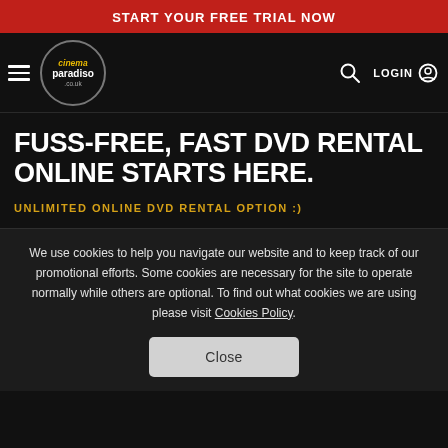START YOUR FREE TRIAL NOW
[Figure (logo): Cinema Paradiso logo with hamburger menu, search icon, and LOGIN button on black navigation bar]
FUSS-FREE, FAST DVD RENTAL ONLINE STARTS HERE.
UNLIMITED ONLINE DVD RENTAL OPTION :)
We use cookies to help you navigate our website and to keep track of our promotional efforts. Some cookies are necessary for the site to operate normally while others are optional. To find out what cookies we are using please visit Cookies Policy.
Close